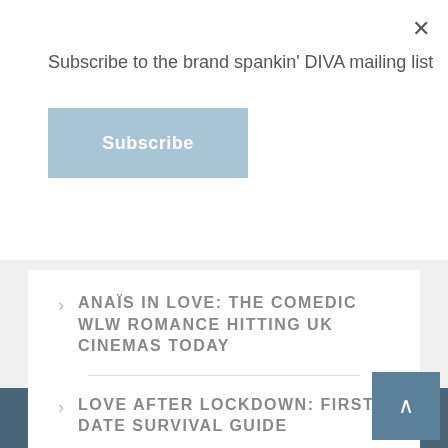Subscribe to the brand spankin' DIVA mailing list
Subscribe
ANAÏS IN LOVE: THE COMEDIC WLW ROMANCE HITTING UK CINEMAS TODAY
LOVE AFTER LOCKDOWN: FIRST DATE SURVIVAL GUIDE